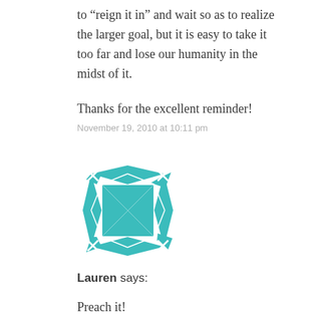to “reign it in” and wait so as to realize the larger goal, but it is easy to take it too far and lose our humanity in the midst of it.
Thanks for the excellent reminder!
November 19, 2010 at 10:11 pm
[Figure (illustration): Teal/turquoise decorative avatar icon with geometric quilted pattern border and square center]
Lauren says:
Preach it!
November 19, 2010 at 10:18 pm